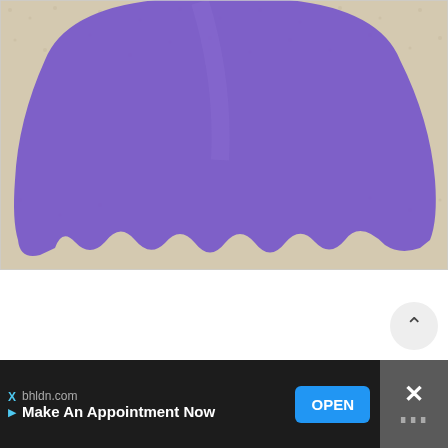[Figure (photo): Close-up photograph of a purple paper cutout in the shape of a wide trapezoid or dress silhouette with a scalloped/wavy bottom edge, lying on a beige textured carpet or fabric background.]
bhldn.com
Make An Appointment Now